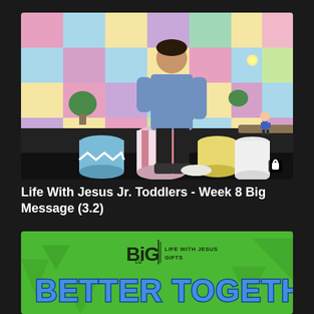[Figure (screenshot): Video thumbnail showing a man in a blue shirt standing in a colorful studio with pastel-colored wall panels (pink, blue, yellow, teal, purple), cylindrical drums/stools on the floor, and a small animated character on a white pedestal. A lock icon is visible in the bottom-right corner.]
Life With Jesus Jr. Toddlers - Week 8 Big Message (3.2)
[Figure (screenshot): Video thumbnail with green background showing the Big Life logo with 'LIFE WITH JESUS GIFTS' subtitle and the text 'BETTER TOGETHER' in large blue bubble letters.]